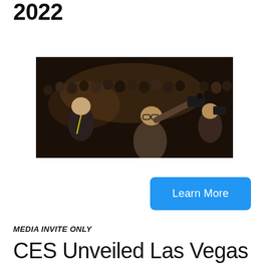2022
[Figure (photo): Crowd of people at a CES conference event, with a man in foreground holding up a camera, others using phones and devices, in a darkened auditorium setting]
Learn More
MEDIA INVITE ONLY
CES Unveiled Las Vegas